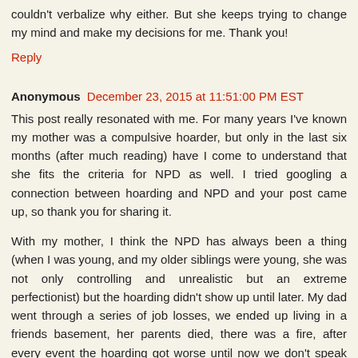couldn't verbalize why either. But she keeps trying to change my mind and make my decisions for me. Thank you!
Reply
Anonymous December 23, 2015 at 11:51:00 PM EST
This post really resonated with me. For many years I've known my mother was a compulsive hoarder, but only in the last six months (after much reading) have I come to understand that she fits the criteria for NPD as well. I tried googling a connection between hoarding and NPD and your post came up, so thank you for sharing it.
With my mother, I think the NPD has always been a thing (when I was young, and my older siblings were young, she was not only controlling and unrealistic but an extreme perfectionist) but the hoarding didn't show up until later. My dad went through a series of job losses, we ended up living in a friends basement, her parents died, there was a fire, after every event the hoarding got worse until now we don't speak and her (two!) houses look like the ones you see on